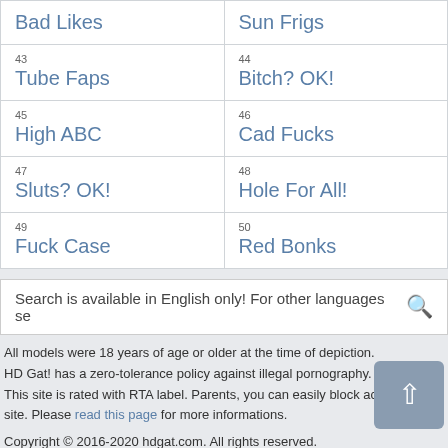| Bad Likes | Sun Frigs |
| 43
Tube Faps | 44
Bitch? OK! |
| 45
High ABC | 46
Cad Fucks |
| 47
Sluts? OK! | 48
Hole For All! |
| 49
Fuck Case | 50
Red Bonks |
Search is available in English only! For other languages se
All models were 18 years of age or older at the time of depiction. HD Gat! has a zero-tolerance policy against illegal pornography. This site is rated with RTA label. Parents, you can easily block access to this site. Please read this page for more informations.
Copyright © 2016-2020 hdgat.com. All rights reserved.